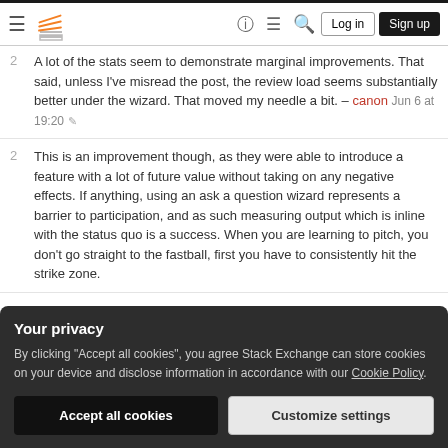Stack Exchange navigation bar with hamburger menu, logo, help, chat, search icons, Log in and Sign up buttons
2 A lot of the stats seem to demonstrate marginal improvements. That said, unless I've misread the post, the review load seems substantially better under the wizard. That moved my needle a bit. – canon Jun 6 at 19:20
2 This is an improvement though, as they were able to introduce a feature with a lot of future value without taking on any negative effects. If anything, using an ask a question wizard represents a barrier to participation, and as such measuring output which is inline with the status quo is a success. When you are learning to pitch, you don't go straight to the fastball, first you have to consistently hit the strike zone.
Your privacy
By clicking "Accept all cookies", you agree Stack Exchange can store cookies on your device and disclose information in accordance with our Cookie Policy.
Accept all cookies | Customize settings
11 We did not have any specific percentage goals. The